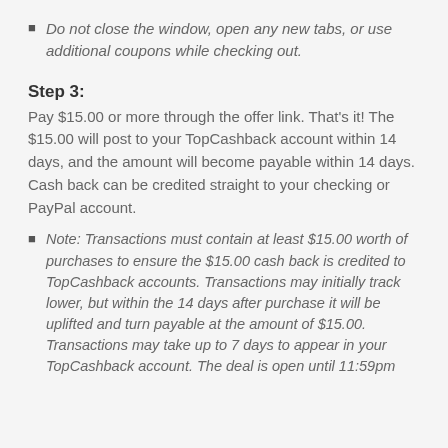Do not close the window, open any new tabs, or use additional coupons while checking out.
Step 3:
Pay $15.00 or more through the offer link. That's it! The $15.00 will post to your TopCashback account within 14 days, and the amount will become payable within 14 days. Cash back can be credited straight to your checking or PayPal account.
Note: Transactions must contain at least $15.00 worth of purchases to ensure the $15.00 cash back is credited to TopCashback accounts. Transactions may initially track lower, but within the 14 days after purchase it will be uplifted and turn payable at the amount of $15.00. Transactions may take up to 7 days to appear in your TopCashback account. The deal is open until 11:59pm